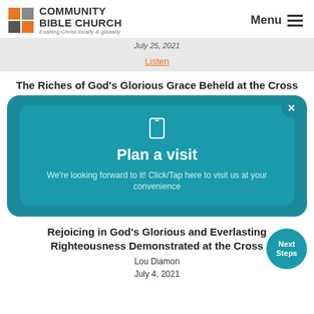[Figure (logo): Community Bible Church logo with orange and grey squares and text 'Exalting Christ locally & globally']
Menu ☰
July 25, 2021
Listen
The Riches of God's Glorious Grace Beheld at the Cross
[Figure (infographic): Teal popup modal with close button, phone icon, title 'Plan a visit', and text 'We're looking forward to it! Click/Tap here to visit us at your convenience']
Rejoicing in God's Glorious and Everlasting Righteousness Demonstrated at the Cross
Lou Diamon
July 4, 2021
[Figure (infographic): Teal circular 'Next Steps' button in bottom right corner]